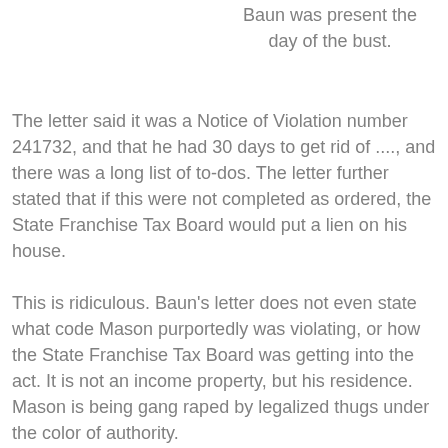Baun was present the day of the bust.
The letter said it was a Notice of Violation number 241732, and that he had 30 days to get rid of ...., and there was a long list of to-dos. The letter further stated that if this were not completed as ordered, the State Franchise Tax Board would put a lien on his house.
This is ridiculous. Baun's letter does not even state what code Mason purportedly was violating, or how the State Franchise Tax Board was getting into the act. It is not an income property, but his residence. Mason is being gang raped by legalized thugs under the color of authority.